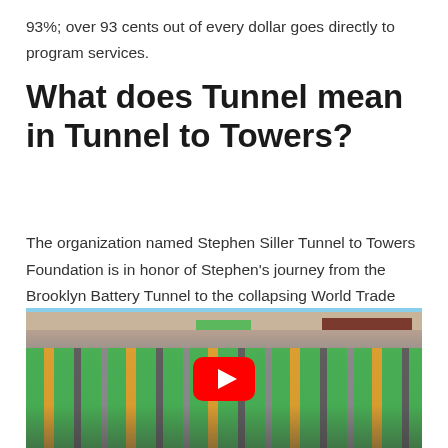93%; over 93 cents out of every dollar goes directly to program services.
What does Tunnel mean in Tunnel to Towers?
The organization named Stephen Siller Tunnel to Towers Foundation is in honor of Stephen's journey from the Brooklyn Battery Tunnel to the collapsing World Trade Center towers.
[Figure (photo): A large crowd of runners wearing green shirts participating in a race event, with buildings and a red YouTube play button overlay in the center.]